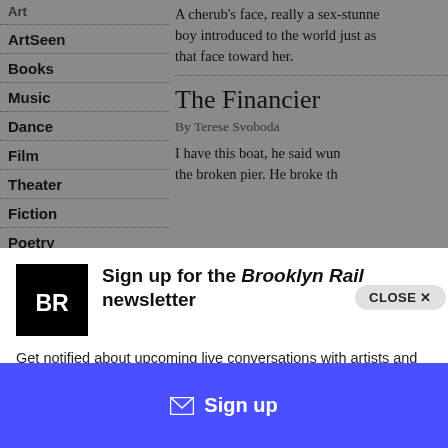Art
ArtSeen
Books
Music
Dance
Film
Theater
Fiction
Poetry
A cherub's face, really a sex-stunne boy introduced to the world just as that face toward her.
The Financier
By Terese Svoboda
I have this boat, he said. Wun the broken pier. He broke th
[Figure (logo): Brooklyn Rail logo: black square with white bold 'BR' letters]
Sign up for the Brooklyn Rail newsletter
Get notified about upcoming live conversations with artists and when the next issue of the Rail drops.
Sign up